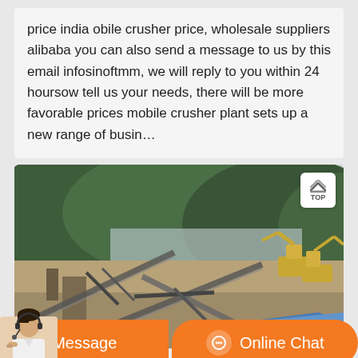price india obile crusher price, wholesale suppliers alibaba you can also send a message to us by this email infosinoftmm, we will reply to you within 24 hoursow tell us your needs, there will be more favorable prices mobile crusher plant sets up a new range of busin…
[Figure (photo): Aerial or elevated view of a mobile crusher plant/industrial quarry site with conveyor belts, excavators, and construction machinery, set against a backdrop of forested hills and a body of water.]
Message
Online Chat